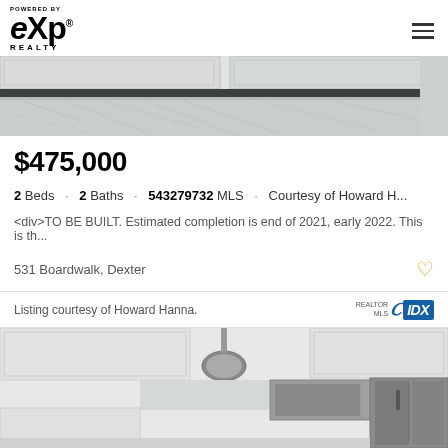eXp Realty
[Figure (photo): Kitchen granite countertop close-up, top portion visible]
$475,000
2 Beds · 2 Baths · 543279732 MLS · Courtesy of Howard H...
<div>TO BE BUILT. Estimated completion is end of 2021, early 2022. This is th...
531 Boardwalk, Dexter
Listing courtesy of Howard Hanna.
[Figure (photo): Kitchen interior with white cabinets, stainless steel appliances, pendant light]